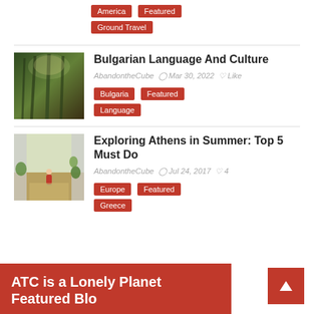America | Featured | Ground Travel
[Figure (photo): Forest path with green trees and light rays]
Bulgarian Language And Culture
AbandontheCube  Mar 30, 2022  Like
Bulgaria | Featured | Language
[Figure (photo): Child in red dress walking down a narrow alley in Athens]
Exploring Athens in Summer: Top 5 Must Do
AbandontheCube  Jul 24, 2017  4
Europe | Featured | Greece
ATC is a Lonely Planet Featured Blog